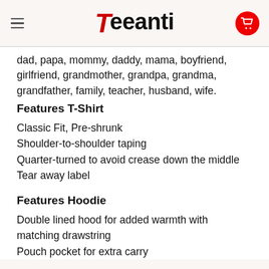Teeanti
dad, papa, mommy, daddy, mama, boyfriend, girlfriend, grandmother, grandpa, grandma, grandfather, family, teacher, husband, wife.
Features T-Shirt
Classic Fit, Pre-shrunk
Shoulder-to-shoulder taping
Quarter-turned to avoid crease down the middle
Tear away label
Features Hoodie
Double lined hood for added warmth with matching drawstring
Pouch pocket for extra carry